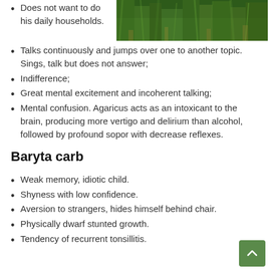[Figure (photo): Green grass/plant image in the upper right corner]
Does not want to do his daily households.
Talks continuously and jumps over one to another topic. Sings, talk but does not answer;
Indifference;
Great mental excitement and incoherent talking;
Mental confusion. Agaricus acts as an intoxicant to the brain, producing more vertigo and delirium than alcohol, followed by profound sopor with decrease reflexes.
Baryta carb
Weak memory, idiotic child.
Shyness with low confidence.
Aversion to strangers, hides himself behind chair.
Physically dwarf stunted growth.
Tendency of recurrent tonsillitis.